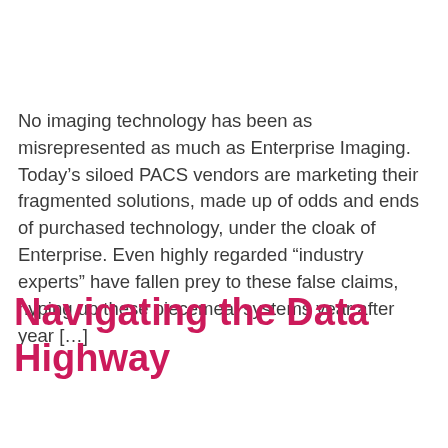No imaging technology has been as misrepresented as much as Enterprise Imaging. Today's siloed PACS vendors are marketing their fragmented solutions, made up of odds and ends of purchased technology, under the cloak of Enterprise. Even highly regarded “industry experts” have fallen prey to these false claims, hyping up these piecemeal systems year after year […]
Navigating the Data Highway